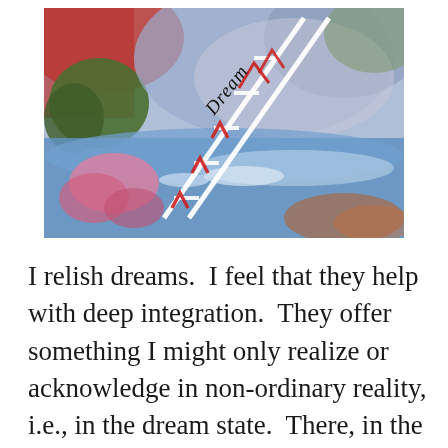[Figure (illustration): A colorful mixed-media painting showing an abstract landscape with a diagonal ladder or sail-like structure labeled 'Dream' in black text. The background features reds, greens, blues, purples, and pinks suggesting sky, water, and earth. Red chevron/arrow shapes appear along a white diagonal structure.]
I relish dreams.  I feel that they help with deep integration.  They offer something I might only realize or acknowledge in non-ordinary reality, i.e., in the dream state.  There, in the